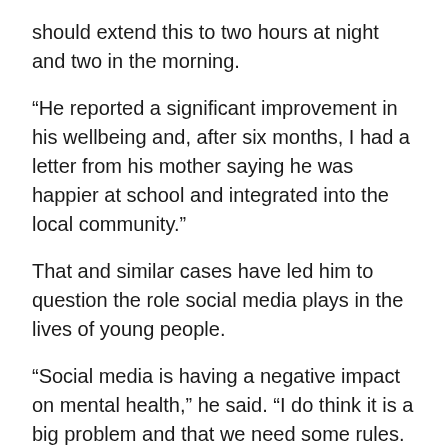should extend this to two hours at night and two in the morning.
“He reported a significant improvement in his wellbeing and, after six months, I had a letter from his mother saying he was happier at school and integrated into the local community.”
That and similar cases have led him to question the role social media plays in the lives of young people.
“Social media is having a negative impact on mental health,” he said. “I do think it is a big problem and that we need some rules. How do we educate society to use technology so it helps us rather than harms us?”
He is not alone. A group of US child welfare experts recently wrote to Facebook founder Mark Zuckerberg